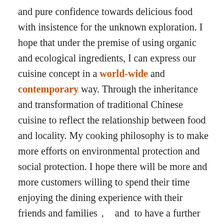and pure confidence towards delicious food with insistence for the unknown exploration. I hope that under the premise of using organic and ecological ingredients, I can express our cuisine concept in a world-wide and contemporary way. Through the inheritance and transformation of traditional Chinese cuisine to reflect the relationship between food and locality. My cooking philosophy is to make more efforts on environmental protection and social protection. I hope there will be more and more customers willing to spend their time enjoying the dining experience with their friends and families，  and  to have a further understanding of organic lifestyles and environmental protection. Truly hope that everyone can purely experience the magical combination and diverse features we create for local ingredients!”